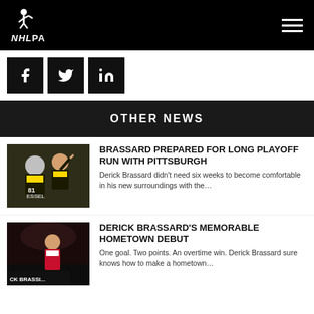NHLPA
[Figure (logo): NHLPA logo with hockey player silhouette and hamburger menu icon]
[Figure (infographic): Social media icons: Facebook, Twitter, LinkedIn]
OTHER NEWS
[Figure (photo): Hockey players in Pittsburgh Penguins jerseys celebrating, player 81 visible]
BRASSARD PREPARED FOR LONG PLAYOFF RUN WITH PITTSBURGH
Derick Brassard didn't need six weeks to become comfortable in his new surroundings with the…
[Figure (photo): Hockey player in Ottawa Senators jersey on ice with arena background, CK BRASSI... text visible]
DERICK BRASSARD'S MEMORABLE HOMETOWN DEBUT
One goal. Two points. An overtime win. Derick Brassard sure knows how to make a hometown…